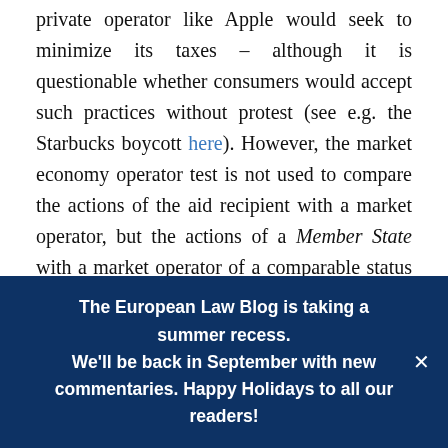private operator like Apple would seek to minimize its taxes – although it is questionable whether consumers would accept such practices without protest (see e.g. the Starbucks boycott here). However, the market economy operator test is not used to compare the actions of the aid recipient with a market operator, but the actions of a Member State with a market operator of a comparable status operating in normal conditions of market economy (see e.g. para 29 here; for the test's applicability to fiscal state aid see paras 89-92 here). Thus, whenever
The European Law Blog is taking a summer recess. We'll be back in September with new commentaries. Happy Holidays to all our readers!